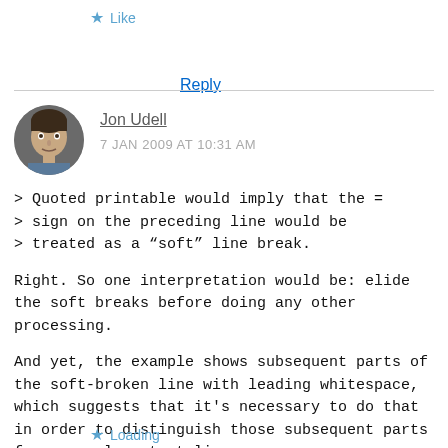★ Like
Reply
Jon Udell
7 JAN 2009 AT 10:31 AM
> Quoted printable would imply that the =
> sign on the preceding line would be
> treated as a “soft” line break.
Right. So one interpretation would be: elide the soft breaks before doing any other processing.
And yet, the example shows subsequent parts of the soft-broken line with leading whitespace, which suggests that it's necessary to do that in order to distinguish those subsequent parts from normal content lines.
Loading